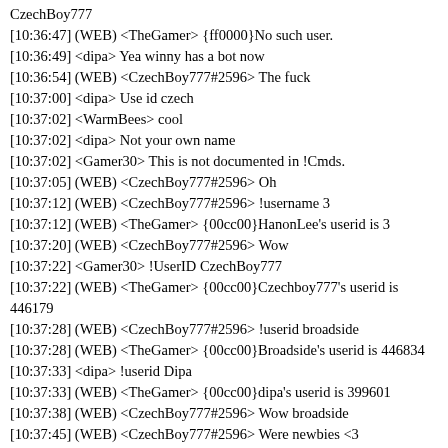CzechBoy777
[10:36:47] (WEB) <TheGamer> {ff0000}No such user.
[10:36:49] <dipa> Yea winny has a bot now
[10:36:54] (WEB) <CzechBoy777#2596> The fuck
[10:37:00] <dipa> Use id czech
[10:37:02] <WarmBees> cool
[10:37:02] <dipa> Not your own name
[10:37:02] <Gamer30> This is not documented in !Cmds.
[10:37:05] (WEB) <CzechBoy777#2596> Oh
[10:37:12] (WEB) <CzechBoy777#2596> !username 3
[10:37:12] (WEB) <TheGamer> {00cc00}HanonLee's userid is 3
[10:37:20] (WEB) <CzechBoy777#2596> Wow
[10:37:22] <Gamer30> !UserID CzechBoy777
[10:37:22] (WEB) <TheGamer> {00cc00}Czechboy777's userid is 446179
[10:37:28] (WEB) <CzechBoy777#2596> !userid broadside
[10:37:28] (WEB) <TheGamer> {00cc00}Broadside's userid is 446834
[10:37:33] <dipa> !userid Dipa
[10:37:33] (WEB) <TheGamer> {00cc00}dipa's userid is 399601
[10:37:38] (WEB) <CzechBoy777#2596> Wow broadside
[10:37:45] (WEB) <CzechBoy777#2596> Were newbies <3
[10:37:48] <TwilightMontana> !userid Jezza
[10:37:50] (WEB) <TheGamer> {00cc00}Jezza's userid is 1
[10:37:56] <Gamer30> !UserName 226464